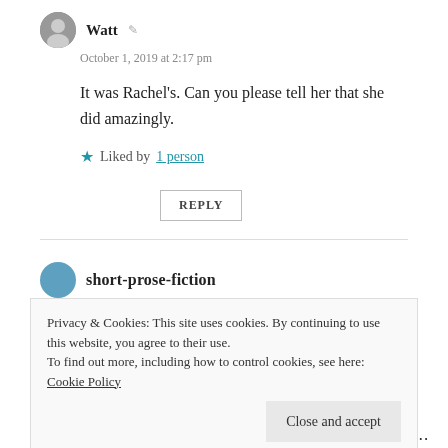Watt
October 1, 2019 at 2:17 pm
It was Rachel's. Can you please tell her that she did amazingly.
Liked by 1 person
REPLY
short-prose-fiction
October 2, 2019 at 6:40 am
Privacy & Cookies: This site uses cookies. By continuing to use this website, you agree to their use.
To find out more, including how to control cookies, see here: Cookie Policy
Close and accept
The atmosphere is stunning, surreal, dream-like. No…